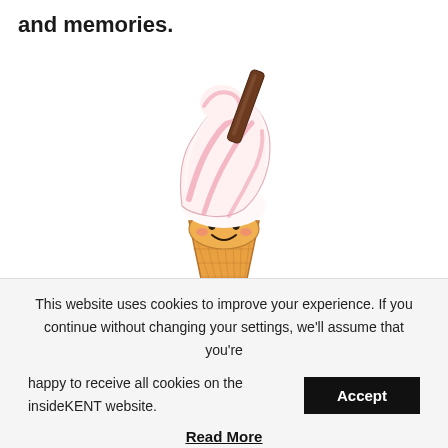and memories.
[Figure (illustration): Cute kawaii-style soft serve ice cream cone with pink and white swirl, a chocolate flake stick, and a smiling face on the orange waffle cone.]
This website uses cookies to improve your experience. If you continue without changing your settings, we'll assume that you're happy to receive all cookies on the insideKENT website.
Accept
Read More